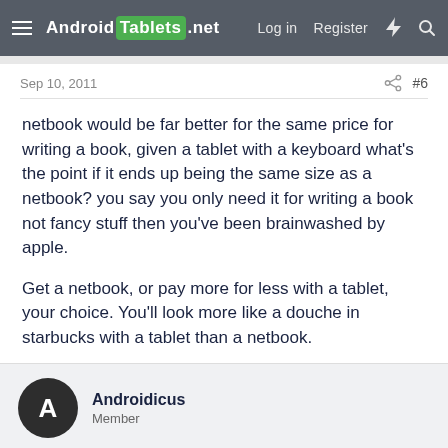Android Tablets .net  Log in  Register
Sep 10, 2011  #6
netbook would be far better for the same price for writing a book, given a tablet with a keyboard what's the point if it ends up being the same size as a netbook? you say you only need it for writing a book not fancy stuff then you've been brainwashed by apple.

Get a netbook, or pay more for less with a tablet, your choice. You'll look more like a douche in starbucks with a tablet than a netbook.
Androidicus
Member